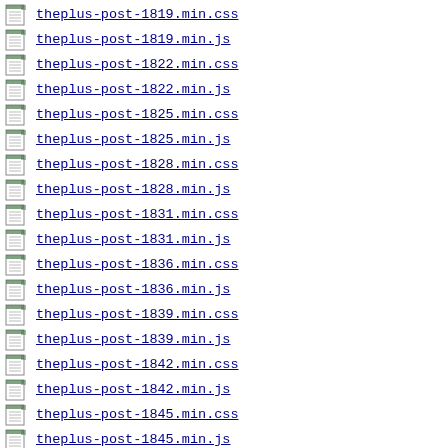theplus-post-1819.min.css
theplus-post-1819.min.js
theplus-post-1822.min.css
theplus-post-1822.min.js
theplus-post-1825.min.css
theplus-post-1825.min.js
theplus-post-1828.min.css
theplus-post-1828.min.js
theplus-post-1831.min.css
theplus-post-1831.min.js
theplus-post-1836.min.css
theplus-post-1836.min.js
theplus-post-1839.min.css
theplus-post-1839.min.js
theplus-post-1842.min.css
theplus-post-1842.min.js
theplus-post-1845.min.css
theplus-post-1845.min.js